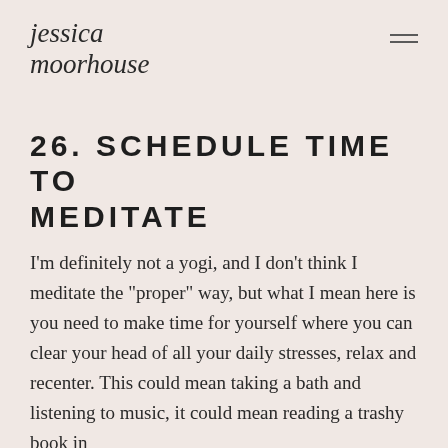jessica moorhouse
26. SCHEDULE TIME TO MEDITATE
I’m definitely not a yogi, and I don’t think I meditate the “proper” way, but what I mean here is you need to make time for yourself where you can clear your head of all your daily stresses, relax and recenter. This could mean taking a bath and listening to music, it could mean reading a trashy book in